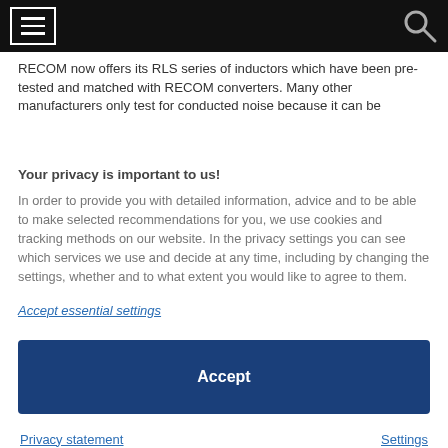[Navigation bar with menu icon and search icon]
RECOM now offers its RLS series of inductors which have been pre-tested and matched with RECOM converters. Many other manufacturers only test for conducted noise because it can be [text continues below fold]
Your privacy is important to us!
In order to provide you with detailed information, advice and to be able to make selected recommendations for you, we use cookies and tracking methods on our website. In the privacy settings you can see which services we use and decide at any time, including by changing the settings, whether and to what extent you would like to agree to them.
Accept essential settings
Accept
Privacy statement | Settings